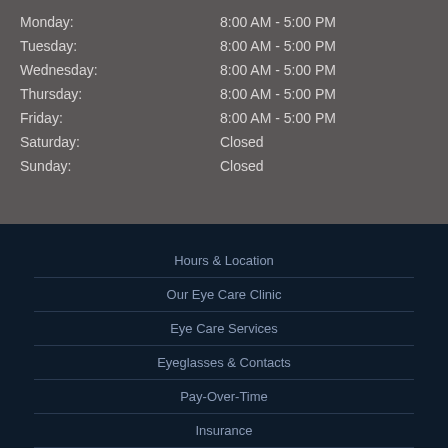Monday: 8:00 AM - 5:00 PM
Tuesday: 8:00 AM - 5:00 PM
Wednesday: 8:00 AM - 5:00 PM
Thursday: 8:00 AM - 5:00 PM
Friday: 8:00 AM - 5:00 PM
Saturday: Closed
Sunday: Closed
Hours & Location
Our Eye Care Clinic
Eye Care Services
Eyeglasses & Contacts
Pay-Over-Time
Insurance